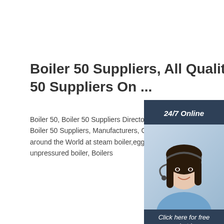Boiler 50 Suppliers, All Quality 50 Suppliers On ...
Boiler 50, Boiler 50 Suppliers Directory - Find Boiler 50 Suppliers, Manufacturers, Companies around the World at steam boiler,egg boiler,so unpressured boiler, Boilers
Get Price
[Figure (photo): Customer service representative woman with headset, 24/7 Online chat widget with dark blue background, orange QUOTATION button, and 'Click here for free chat!' text]